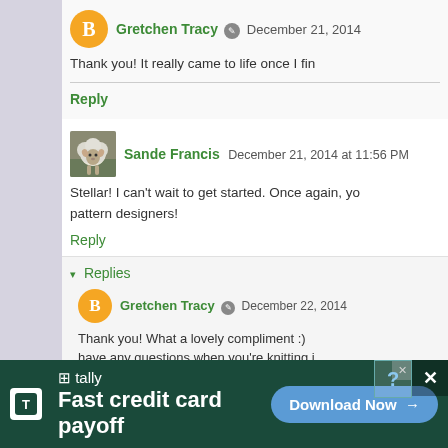Gretchen Tracy · December 21, 2014
Thank you! It really came to life once I fin
Reply
Sande Francis  December 21, 2014 at 11:56 PM
Stellar! I can't wait to get started. Once again, you are one of the best pattern designers!
Reply
▾ Replies
Gretchen Tracy · December 22, 2014
Thank you! What a lovely compliment :) have any questions when you're knitting i
[Figure (screenshot): Advertisement banner: Tally app - Fast credit card payoff with Download Now button]